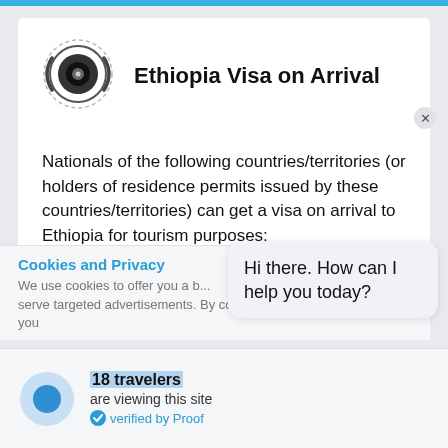[Figure (logo): Circular logo with concentric circles and a dot in the center, resembling a camera lens or globe icon.]
Ethiopia Visa on Arrival
Nationals of the following countries/territories (or holders of residence permits issued by these countries/territories) can get a visa on arrival to Ethiopia for tourism purposes:
Cookies and Privacy
We use cookies to offer you a b... serve targeted advertisements. By continuing to use this website, you
Hi there. How can I help you today?
18 travelers
are viewing this site
verified by Proof